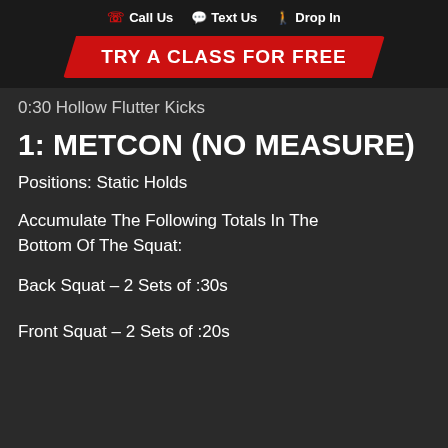Call Us   Text Us   Drop In
TRY A CLASS FOR FREE
0:30 Hollow Flutter Kicks
1: METCON (NO MEASURE)
Positions: Static Holds
Accumulate The Following Totals In The Bottom Of The Squat:
Back Squat – 2 Sets of :30s
Front Squat – 2 Sets of :20s